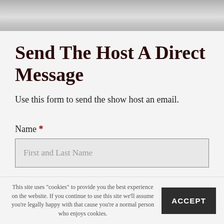Send The Host A Direct Message
Use this form to send the show host an email.
Name *
First and Last Name
This site uses "cookies" to provide you the best experience on the website. If you continue to use this site we'll assume you're legally happy with that cause you're a normal person who enjoys cookies.